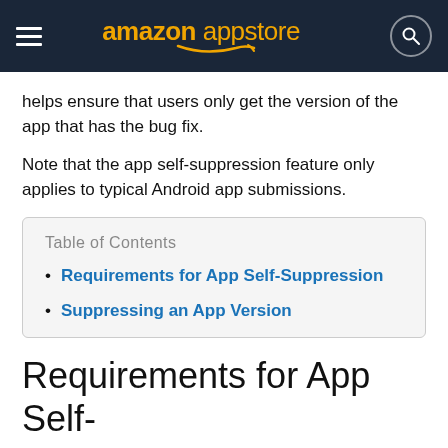amazon appstore
helps ensure that users only get the version of the app that has the bug fix.
Note that the app self-suppression feature only applies to typical Android app submissions.
Table of Contents
Requirements for App Self-Suppression
Suppressing an App Version
Requirements for App Self-